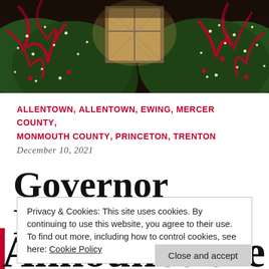[Figure (photo): Christmas trees decorated with red ribbons and ornaments in a dark indoor setting with a window visible in the background]
ALLENTOWN, ALLENTOWN, EWING, MERCER COUNTY, MONMOUTH COUNTY, PRINCETON, TRENTON December 10, 2021
Governor Murphy
Privacy & Cookies: This site uses cookies. By continuing to use this website, you agree to their use.
To find out more, including how to control cookies, see here: Cookie Policy
Close and accept
Announce the